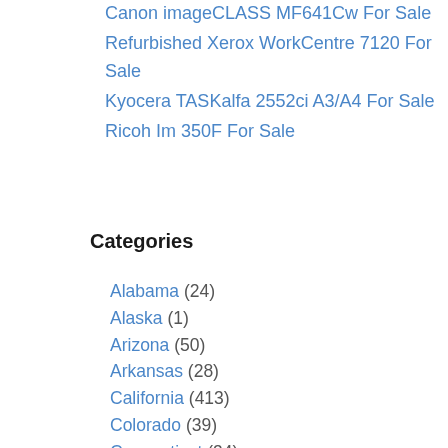Canon imageCLASS MF641Cw For Sale
Refurbished Xerox WorkCentre 7120 For Sale
Kyocera TASKalfa 2552ci A3/A4 For Sale
Ricoh Im 350F For Sale
Categories
Alabama (24)
Alaska (1)
Arizona (50)
Arkansas (28)
California (413)
Colorado (39)
Connecticut (34)
Delaware (5)
District of Columbia (2)
Florida (165)
Georgia (96)
Hawaii (3)
Idaho (16)
Illinois (331)